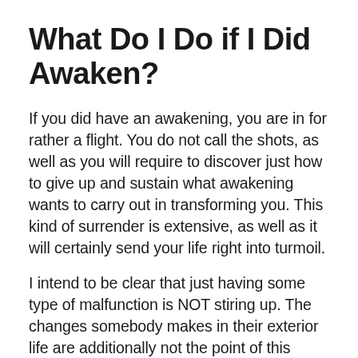What Do I Do if I Did Awaken?
If you did have an awakening, you are in for rather a flight. You do not call the shots, as well as you will require to discover just how to give up and sustain what awakening wants to carry out in transforming you. This kind of surrender is extensive, as well as it will certainly send your life right into turmoil.
I intend to be clear that just having some type of malfunction is NOT stiring up. The changes somebody makes in their exterior life are additionally not the point of this improvement. We're not attempting to create an extra excellent or much better life;